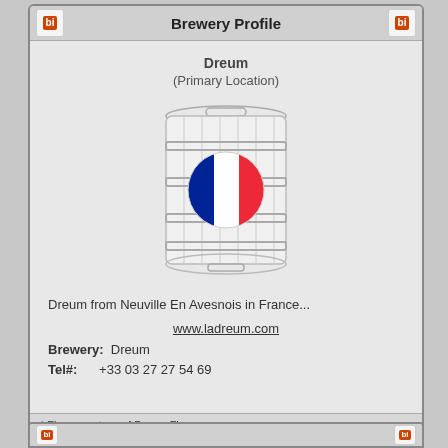Brewery Profile
Dreum
(Primary Location)
[Figure (illustration): A keg/barrel illustration with the French flag (blue, white, red vertical stripes) displayed as a circular emblem in the center of the keg.]
Dreum from Neuville En Avesnois in France...
www.ladreum.com
Brewery:  Dreum
Tel#:  +33 03 27 27 54 69
* Flags courtesy of BannerFlow.com